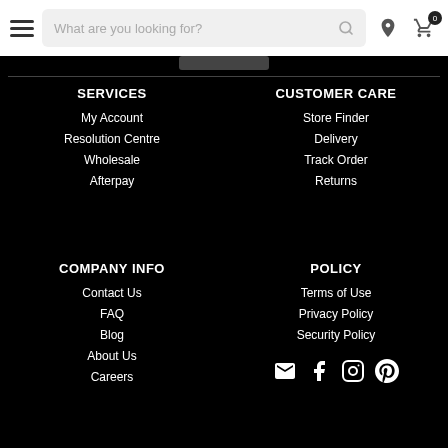Navigation header with hamburger menu, search box 'What are you looking for?', location icon, cart icon (0)
SERVICES
My Account
Resolution Centre
Wholesale
Afterpay
CUSTOMER CARE
Store Finder
Delivery
Track Order
Returns
COMPANY INFO
Contact Us
FAQ
Blog
About Us
Careers
POLICY
Terms of Use
Privacy Policy
Security Policy
[Figure (infographic): Social media icons: email, Facebook, Instagram, Pinterest]